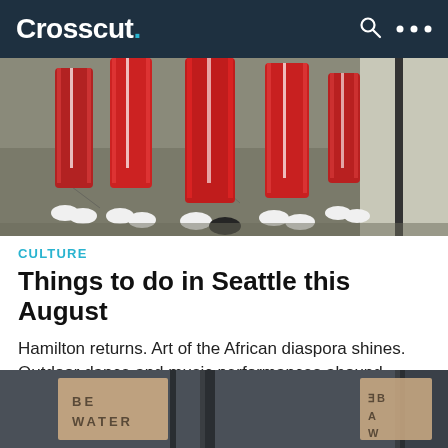Crosscut.
[Figure (photo): People in red tracksuits walking on a street, lower body visible, white sneakers]
CULTURE
Things to do in Seattle this August
Hamilton returns. Art of the African diaspora shines. Outdoor dance and music performances abound.
by Margo Vansynghel / August 1, 2022
[Figure (photo): Storefront windows with "BE WATER" signage reflected]